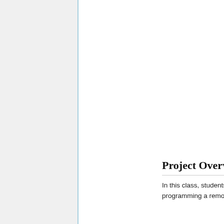[Figure (photo): Person kneeling outdoors on grass near a concrete retaining wall with trees and a path in the background, photographed in a park or campus setting with bright sunlight.]
Project Overview
In this class, students are tasked with programming a remote control (RC) car